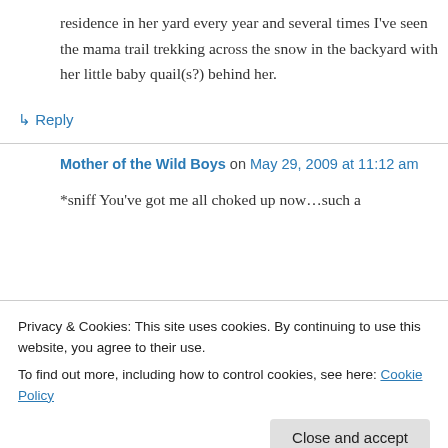residence in her yard every year and several times I've seen the mama trail trekking across the snow in the backyard with her little baby quail(s?) behind her.
↪ Reply
Mother of the Wild Boys on May 29, 2009 at 11:12 am
*sniff You've got me all choked up now…such a
Privacy & Cookies: This site uses cookies. By continuing to use this website, you agree to their use.
To find out more, including how to control cookies, see here: Cookie Policy
Close and accept
So sweet!!!!